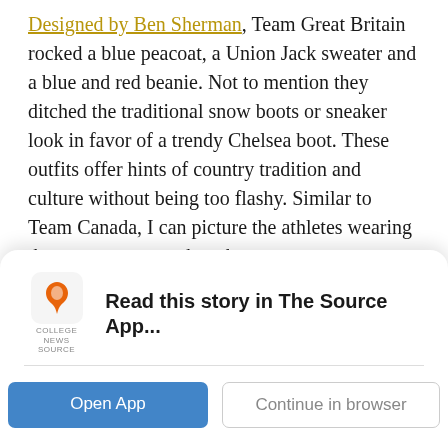Designed by Ben Sherman, Team Great Britain rocked a blue peacoat, a Union Jack sweater and a blue and red beanie. Not to mention they ditched the traditional snow boots or sneaker look in favor of a trendy Chelsea boot. These outfits offer hints of country tradition and culture without being too flashy. Similar to Team Canada, I can picture the athletes wearing that sweater even when the games are over.
3: Lithuania
Team Lithuania knocked it out of the park with their navy blue snowsuits. Their athletes used their face masks as a key accessory and were printed with the Lithuanian flag—a
[Figure (screenshot): App banner overlay with College News Source logo, text 'Read this story in The Source App...', a horizontal divider, and two buttons: 'Open App' (blue) and 'Continue in browser' (outlined).]